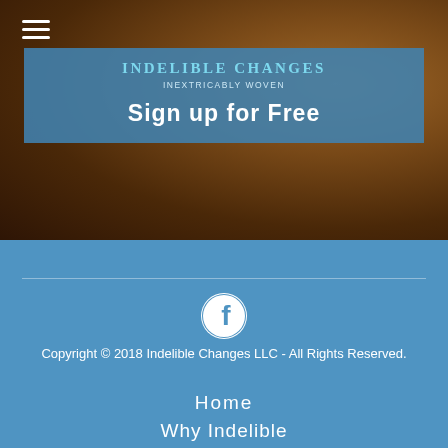[Figure (screenshot): Website screenshot showing Indelible Changes logo header with hamburger menu and Sign up for Free button on a blue banner over a dark brown textured background]
Sign up for Free
[Figure (logo): Facebook circular icon in white on steel blue background]
Copyright © 2018 Indelible Changes LLC - All Rights Reserved.
Home
Why Indelible
Indelible Services